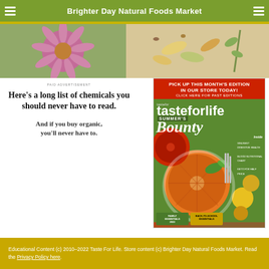Brighter Day Natural Foods Market
[Figure (photo): Close-up of a pink echinacea flower]
[Figure (photo): Assortment of herbs, seeds, and supplement capsules]
PAID ADVERTISEMENT
Here's a long list of chemicals you should never have to read.
And if you buy organic, you'll never have to.
[Figure (photo): Taste For Life magazine cover - Summer's Bounty edition showing fresh tomatoes and vegetables]
PICK UP THIS MONTH'S EDITION IN OUR STORE TODAY! CLICK HERE FOR PAST EDITIONS
Educational Content (c) 2010–2022 Taste For Life. Store content (c) Brighter Day Natural Foods Market. Read the Privacy Policy here.